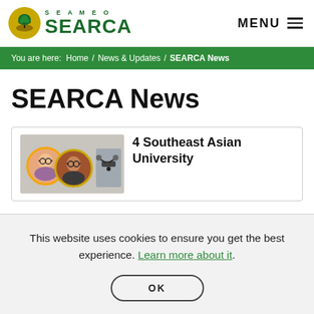[Figure (logo): SEAMEO SEARCA logo with golden tree emblem and green text]
MENU
You are here: Home / News & Updates / SEARCA News
SEARCA News
[Figure (photo): News article thumbnail showing two circular portrait photos and a drone image]
4 Southeast Asian University
This website uses cookies to ensure you get the best experience. Learn more about it.
OK